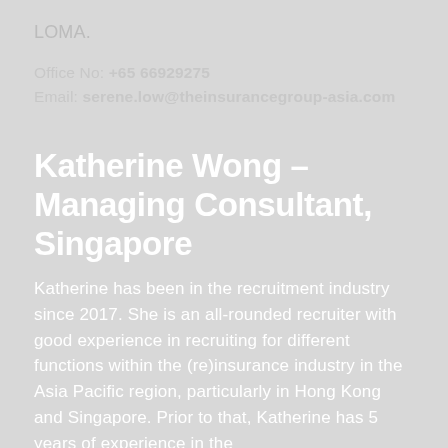LOMA.
Office No: +65 66929275
Email: serene.low@theinsurancegroup-asia.com
Katherine Wong – Managing Consultant, Singapore
Katherine has been in the recruitment industry since 2017. She is an all-rounded recruiter with good experience in recruiting for different functions within the (re)insurance industry in the Asia Pacific region, particularly in Hong Kong and Singapore. Prior to that, Katherine has 5 years of experience in the